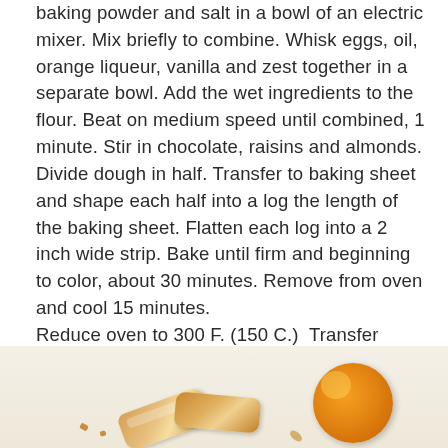baking powder and salt in a bowl of an electric mixer. Mix briefly to combine. Whisk eggs, oil, orange liqueur, vanilla and zest together in a separate bowl. Add the wet ingredients to the flour. Beat on medium speed until combined, 1 minute. Stir in chocolate, raisins and almonds. Divide dough in half. Transfer to baking sheet and shape each half into a log the length of the baking sheet. Flatten each log into a 2 inch wide strip. Bake until firm and beginning to color, about 30 minutes. Remove from oven and cool 15 minutes.
Reduce oven to 300 F. (150 C.)  Transfer biscotti to a cutting board. Cut in 3/4 inch strips with a serrated knife.  Arrange cut side down on baking sheet. Bake until they are lightly golden, about 20 minutes, turning them halfway through cooking. Remove from oven and cool completely on racks. Store in an airtight container for up to a week.
[Figure (photo): Photo of biscotti cookies and an orange half on a light beige/cream background, viewed from above]